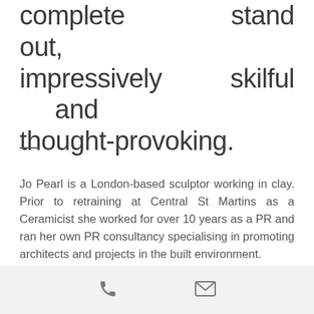complete stand out, impressively skilful and thought-provoking.
—
Jo Pearl is a London-based sculptor working in clay. Prior to retraining at Central St Martins as a Ceramicist she worked for over 10 years as a PR and ran her own PR consultancy specialising in promoting architects and projects in the built environment.
Jo's current artistic practice focuses on making figurative work and animating
[phone icon] [email icon]